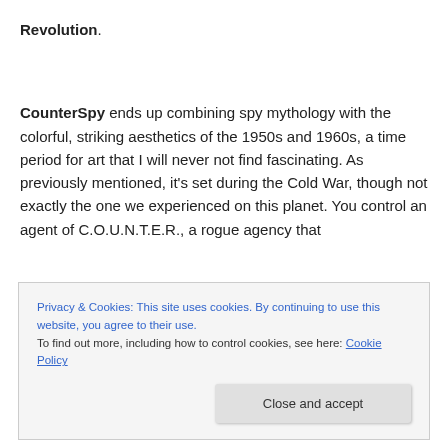Revolution.
CounterSpy ends up combining spy mythology with the colorful, striking aesthetics of the 1950s and 1960s, a time period for art that I will never not find fascinating. As previously mentioned, it’s set during the Cold War, though not exactly the one we experienced on this planet. You control an agent of C.O.U.N.T.E.R., a rogue agency that
Privacy & Cookies: This site uses cookies. By continuing to use this website, you agree to their use.
To find out more, including how to control cookies, see here: Cookie Policy
Close and accept